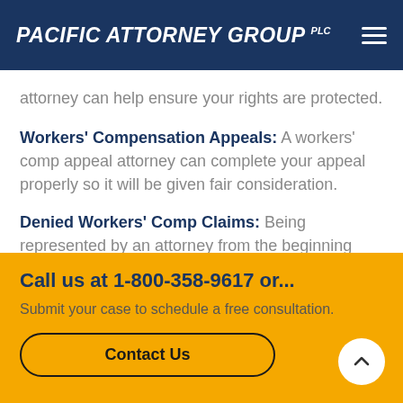PACIFIC ATTORNEY GROUP PLC
attorney can help ensure your rights are protected.
Workers' Compensation Appeals: A workers' comp appeal attorney can complete your appeal properly so it will be given fair consideration.
Denied Workers' Comp Claims: Being represented by an attorney from the beginning reduces the chance of
Call us at 1-800-358-9617 or...
Submit your case to schedule a free consultation.
Contact Us